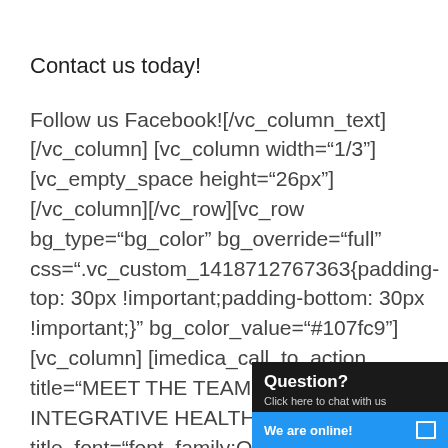Contact us today!
Follow us Facebook![/vc_column_text][/vc_column][vc_column width="1/3"][vc_empty_space height="26px"][/vc_column][/vc_row][vc_row bg_type="bg_color" bg_override="full" css=".vc_custom_1418712767363{padding-top: 30px !important;padding-bottom: 30px !important;}" bg_color_value="#107fc9"][vc_column][imedica_call_to_action title="MEET THE TEAM AT LIFEWORKS INTEGRATIVE HEALTH" title_font="font_family:Open Sans|font_call:Open+Sans|variant title_font_style="font-weight:300;" desc_font="font_family:Open
[Figure (other): Live chat widget overlay showing 'Question? Click here to chat with us' with 'We are online!' button in blue]